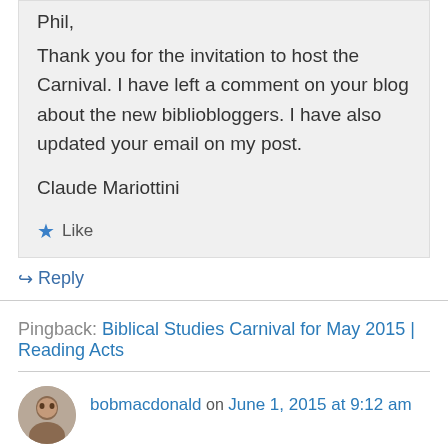Phil,
Thank you for the invitation to host the Carnival. I have left a comment on your blog about the new bibliobloggers. I have also updated your email on my post.
Claude Mariottini
Like
Reply
Pingback: Biblical Studies Carnival for May 2015 | Reading Acts
bobmacdonald on June 1, 2015 at 9:12 am
Thank you Claude for this list, resulting of